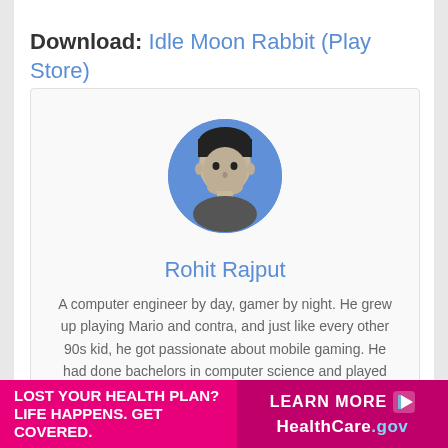Download: Idle Moon Rabbit (Play Store)
[Figure (photo): Circular profile photo of Rohit Rajput with blue background, black and white photo of a young man]
Rohit Rajput
A computer engineer by day, gamer by night. He grew up playing Mario and contra, and just like every other 90s kid, he got passionate about mobile gaming. He had done bachelors in computer science and played fps and MOBA...
[Figure (infographic): Advertisement banner: LOST YOUR HEALTH PLAN? LIFE HAPPENS. GET COVERED. | LEARN MORE | HealthCare.gov]